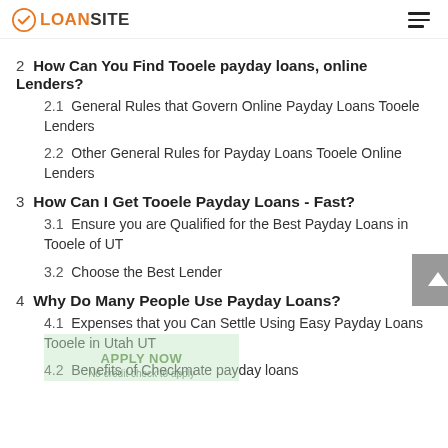LOANSITE
2  How Can You Find Tooele payday loans, online Lenders?
2.1  General Rules that Govern Online Payday Loans Tooele Lenders
2.2  Other General Rules for Payday Loans Tooele Online Lenders
3  How Can I Get Tooele Payday Loans - Fast?
3.1  Ensure you are Qualified for the Best Payday Loans in Tooele of UT
3.2  Choose the Best Lender
4  Why Do Many People Use Payday Loans?
4.1  Expenses that you Can Settle Using Easy Payday Loans Tooele in Utah UT
4.2  Benefits of Checkmate payday loans